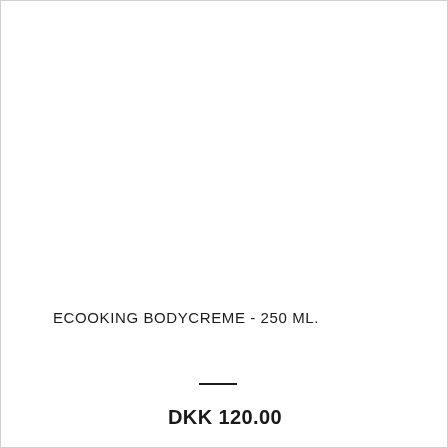ECOOKING BODYCREME - 250 ML.
—
DKK 120.00